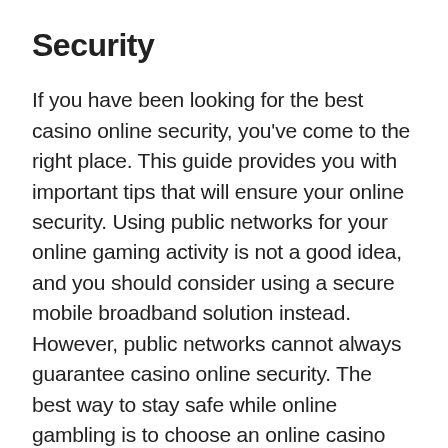Security
If you have been looking for the best casino online security, you've come to the right place. This guide provides you with important tips that will ensure your online security. Using public networks for your online gaming activity is not a good idea, and you should consider using a secure mobile broadband solution instead. However, public networks cannot always guarantee casino online security. The best way to stay safe while online gambling is to choose an online casino that has been accredited by eCOGRA, a globally recognized organization that monitors online gambling operators. Look for the eCOGRA seal, which confirms the casino's integrity